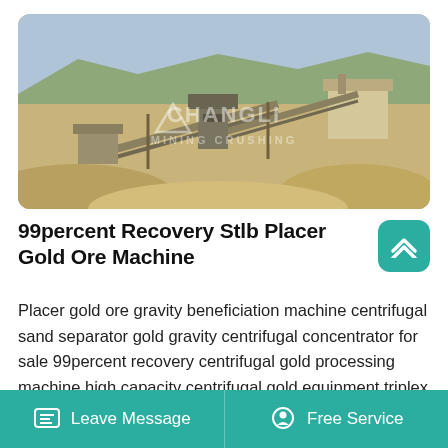[Figure (photo): Aerial/ground view of a mining and crushing plant in a dry, arid landscape. Large conveyors, crushers, and processing equipment visible. 'CHANGLI MINING CRUSHING' watermark overlaid on the image.]
99percent Recovery Stlb Placer Gold Ore Machine
Placer gold ore gravity beneficiation machine centrifugal sand separator gold gravity centrifugal concentrator for sale 99percent recovery centrifugal gold processing machine high capacity centrifugal gold equipment triplex piston mud pump centrifugal concentrator for concentrate...
Leave Message   Free Service